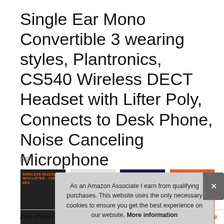Single Ear Mono Convertible 3 wearing styles, Plantronics, CS540 Wireless DECT Headset with Lifter Poly, Connects to Desk Phone, Noise Canceling Microphone
#ad
[Figure (screenshot): Four product image thumbnails for a wireless headset product listing]
As an Amazon Associate I earn from qualifying purchases. This website uses the only necessary cookies to ensure you get the best experience on our website. More information
Poly (Plantronics + Polycom)	...talk time & roaming range.